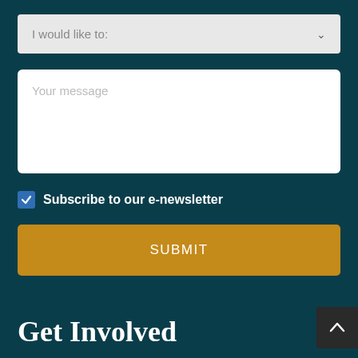[Figure (screenshot): Dropdown select field with placeholder text 'I would like to:' and a chevron arrow on the right, light gray background]
[Figure (screenshot): Textarea input field with placeholder text 'Your message', white background, rounded corners]
Subscribe to our e-newsletter
[Figure (screenshot): Gold/amber colored submit button with text 'SUBMIT' in white centered text]
Get Involved